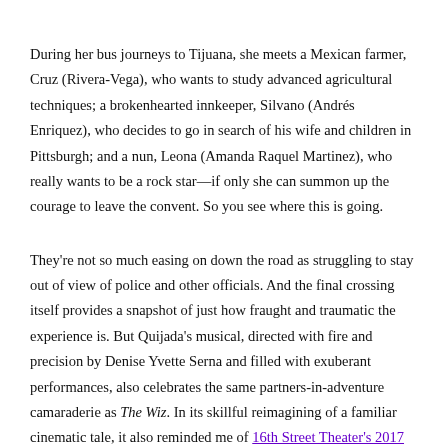During her bus journeys to Tijuana, she meets a Mexican farmer, Cruz (Rivera-Vega), who wants to study advanced agricultural techniques; a brokenhearted innkeeper, Silvano (Andrés Enriquez), who decides to go in search of his wife and children in Pittsburgh; and a nun, Leona (Amanda Raquel Martinez), who really wants to be a rock star—if only she can summon up the courage to leave the convent. So you see where this is going.
They're not so much easing on down the road as struggling to stay out of view of police and other officials. And the final crossing itself provides a snapshot of just how fraught and traumatic the experience is. But Quijada's musical, directed with fire and precision by Denise Yvette Serna and filled with exuberant performances, also celebrates the same partners-in-adventure camaraderie as The Wiz. In its skillful reimagining of a familiar cinematic tale, it also reminded me of 16th Street Theater's 2017 staging of Into the Beautiful North, Karen Zacarias's adaptation of